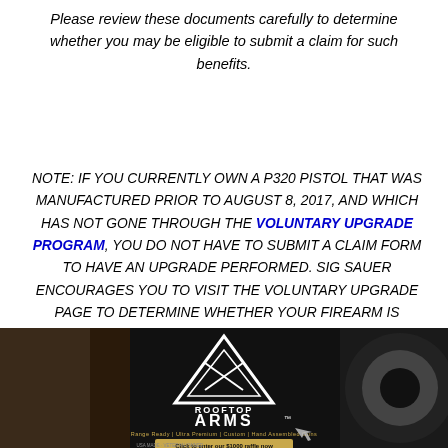Please review these documents carefully to determine whether you may be eligible to submit a claim for such benefits.
NOTE: IF YOU CURRENTLY OWN A P320 PISTOL THAT WAS MANUFACTURED PRIOR TO AUGUST 8, 2017, AND WHICH HAS NOT GONE THROUGH THE VOLUNTARY UPGRADE PROGRAM, YOU DO NOT HAVE TO SUBMIT A CLAIM FORM TO HAVE AN UPGRADE PERFORMED. SIG SAUER ENCOURAGES YOU TO VISIT THE VOLUNTARY UPGRADE PAGE TO DETERMINE WHETHER YOUR FIREARM IS ELIGIBLE [FOR THE VOLUNTARY UP]GRADE
[Figure (photo): Advertisement banner for Rooftop Arms showing tactical gear/firearm imagery with logo, tagline 'Range Ready | Ultra Premium | Custom | Hand Assembled Guns', 'Click to enter our $1000 raffle now', 'USA MADE · VETERAN OWNED']